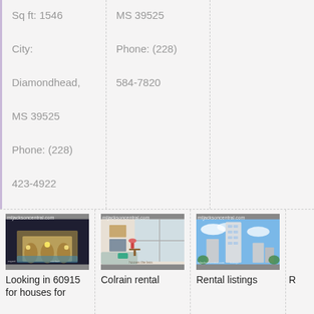Sq ft: 1546

City:

Diamondhead,

MS 39525

Phone: (228)

423-4922
MS 39525

Phone: (228)

584-7820
[Figure (photo): Exterior night view of a large lit building with pool area, watermark mljacksoncentral.com]
Looking in 60915 for houses for
[Figure (photo): Interior living room with large windows, couch and decorative items, watermark mljacksoncentral.com]
Colrain rental
[Figure (photo): Modern high-rise building exterior with blue sky, watermark mljacksoncentral.com]
Rental listings
R